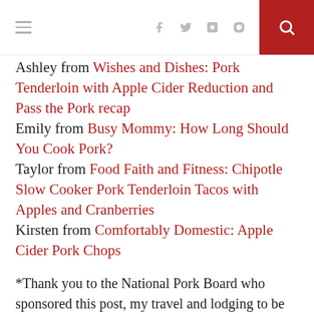[hamburger menu icon] [facebook icon] [twitter icon] [instagram icon] [pinterest icon] [search icon]
Ashley from Wishes and Dishes: Pork Tenderloin with Apple Cider Reduction and Pass the Pork recap
Emily from Busy Mommy: How Long Should You Cook Pork?
Taylor from Food Faith and Fitness: Chipotle Slow Cooker Pork Tenderloin Tacos with Apples and Cranberries
Kirsten from Comfortably Domestic: Apple Cider Pork Chops
*Thank you to the National Pork Board who sponsored this post, my travel and lodging to be able to take the time off of harvest and join these bloggers on the tour. As always, opinions in this post are 100%